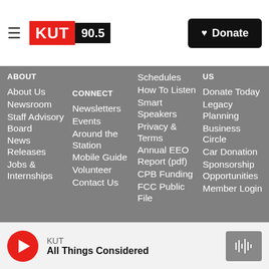[Figure (logo): KUT 90.5 radio station logo with red KUT box and black 90.5 frequency box]
Donate
ABOUT
About Us
Newsroom
Staff Advisory Board
News Releases
Jobs & Internships
CONNECT
Newsletters
Events
Around the Station
Mobile Guide
Volunteer
Contact Us
Schedules
How To Listen
Smart Speakers
Privacy & Terms
Annual EEO Report (pdf)
CPB Funding
FCC Public File
US
Donate Today
Legacy Planning
Business Circle
Car Donation
Sponsorship Opportunities
Member Login
KUT
All Things Considered